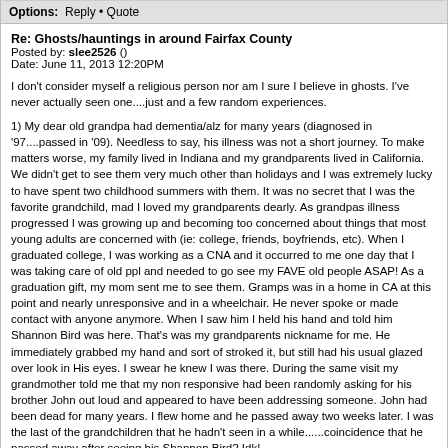Options: Reply • Quote
Re: Ghosts/hauntings in around Fairfax County
Posted by: slee2526 ()
Date: June 11, 2013 12:20PM
I don't consider myself a religious person nor am I sure I believe in ghosts. I've never actually seen one....just and a few random experiences.

1) My dear old grandpa had dementia/alz for many years (diagnosed in '97....passed in '09). Needless to say, his illness was not a short journey. To make matters worse, my family lived in Indiana and my grandparents lived in California. We didn't get to see them very much other than holidays and I was extremely lucky to have spent two childhood summers with them. It was no secret that I was the favorite grandchild, mad I loved my grandparents dearly. As grandpas illness progressed I was growing up and becoming too concerned about things that most young adults are concerned with (ie: college, friends, boyfriends, etc). When I graduated college, I was working as a CNA and it occurred to me one day that I was taking care of old ppl and needed to go see my FAVE old people ASAP! As a graduation gift, my mom sent me to see them. Gramps was in a home in CA at this point and nearly unresponsive and in a wheelchair. He never spoke or made contact with anyone anymore. When I saw him I held his hand and told him Shannon Bird was here. That's was my grandparents nickname for me. He immediately grabbed my hand and sort of stroked it, but still had his usual glazed over look in His eyes. I swear he knew I was there. During the same visit my grandmother told me that my non responsive had been randomly asking for his brother John out loud and appeared to have been addressing someone. John had been dead for many years. I flew home and he passed away two weeks later. I was the last of the grandchildren that he hadn't seen in a while......coincidence that he passed away after seeing his Shannon Bird? Idk!